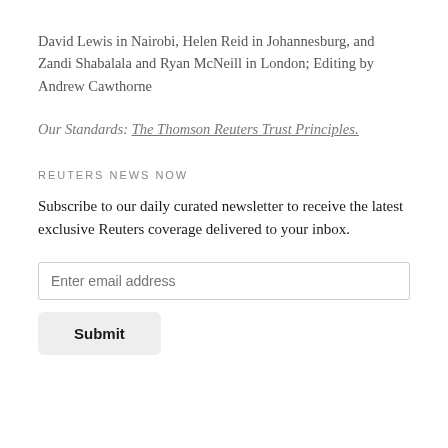David Lewis in Nairobi, Helen Reid in Johannesburg, and Zandi Shabalala and Ryan McNeill in London; Editing by Andrew Cawthorne
Our Standards: The Thomson Reuters Trust Principles.
REUTERS NEWS NOW
Subscribe to our daily curated newsletter to receive the latest exclusive Reuters coverage delivered to your inbox.
Enter email address
Submit